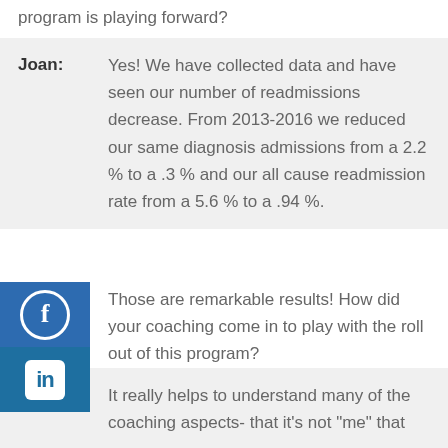program is playing forward?
Joan: Yes! We have collected data and have seen our number of readmissions decrease. From 2013-2016 we reduced our same diagnosis admissions from a 2.2 % to a .3 % and our all cause readmission rate from a 5.6 % to a .94 %.
Amy: Those are remarkable results! How did your coaching come in to play with the roll out of this program?
Joan: It really helps to understand many of the coaching aspects- that it's not "me" that